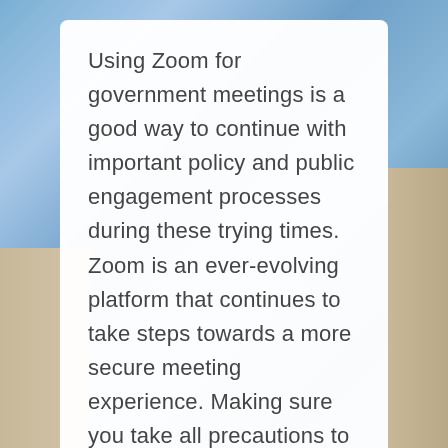Using Zoom for government meetings is a good way to continue with important policy and public engagement processes during these trying times. Zoom is an ever-evolving platform that continues to take steps towards a more secure meeting experience. Making sure you take all precautions to secure your meetings will help prevent bad actors from gaining access and wreaking havoc. Government meetings are essential to keep state, cities, and counties running smoothly, and Zoom is one means to keep the wheel turning until we can all safely meet in person.